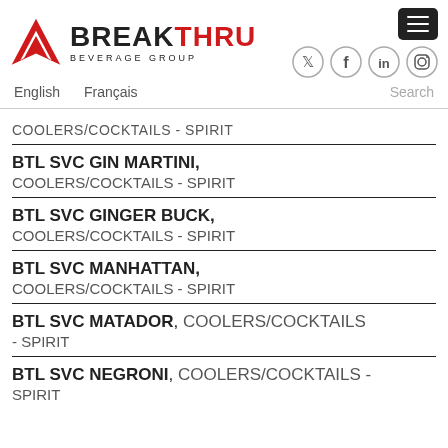[Figure (logo): Breakthru Beverage Group logo with red arrow icon and BREAK in black, THRU in red, BEVERAGE GROUP text below]
English  Français  Search
COOLERS/COCKTAILS - SPIRIT
BTL SVC GIN MARTINI, COOLERS/COCKTAILS - SPIRIT
BTL SVC GINGER BUCK, COOLERS/COCKTAILS - SPIRIT
BTL SVC MANHATTAN, COOLERS/COCKTAILS - SPIRIT
BTL SVC MATADOR, COOLERS/COCKTAILS - SPIRIT
BTL SVC NEGRONI, COOLERS/COCKTAILS - SPIRIT